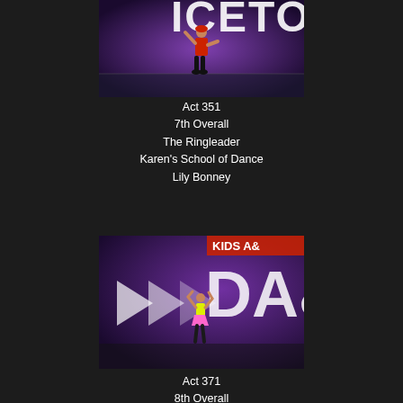[Figure (photo): A dancer in a red costume performing on a purple-lit stage with large letters in the background reading 'ICETOO' (partial). The dancer is in a pose with one arm raised.]
Act 351
7th Overall
The Ringleader
Karen's School of Dance
Lily Bonney
[Figure (photo): A dancer in a neon yellow/pink costume performing on a purple-lit stage with white chevron arrows and large letters 'DAI' visible. The dancer is in a pose with arms raised above head.]
Act 371
8th Overall
Hey Hi Hello
Piazza Dance Company